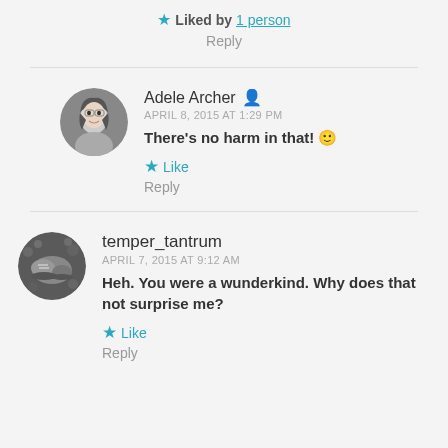★ Liked by 1 person
Reply
Adele Archer
APRIL 8, 2015 AT 1:29 PM
There's no harm in that! 🙂
★ Like
Reply
temper_tantrum
APRIL 7, 2015 AT 9:12 AM
Heh. You were a wunderkind. Why does that not surprise me?
★ Like
Reply